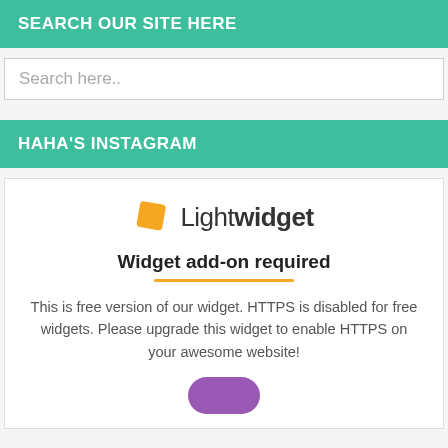SEARCH OUR SITE HERE
Search here..
HAHA'S INSTAGRAM
[Figure (other): Lightwidget logo with orange diamond icon and text 'Lightwidget']
Widget add-on required
This is free version of our widget. HTTPS is disabled for free widgets. Please upgrade this widget to enable HTTPS on your awesome website!